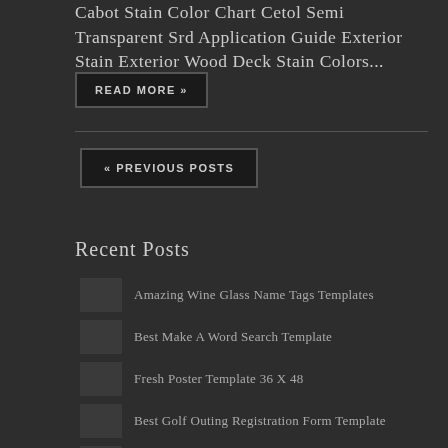Cabot Stain Color Chart Cetol Semi Transparent Srd Application Guide Exterior Stain Exterior Wood Deck Stain Colors...
READ MORE »
« PREVIOUS POSTS
Recent Posts
Amazing Wine Glass Name Tags Templates
Best Make A Word Search Template
Fresh Poster Template 36 X 48
Best Golf Outing Registration Form Template
Creative Mickey Mouse Pattern Cut Out